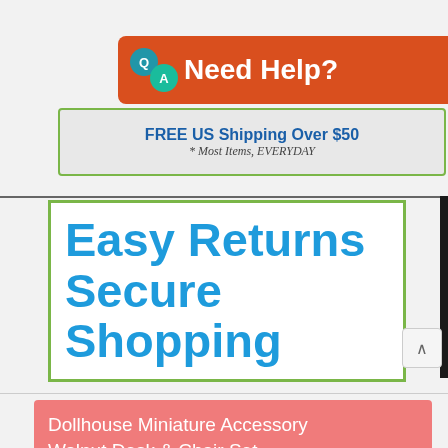[Figure (logo): QA Need Help? banner with orange/red background, QA speech bubble icons, white bold text]
[Figure (infographic): FREE US Shipping Over $50 banner with green border, blue bold text, italic subtitle '* Most Items, EVERYDAY']
[Figure (infographic): Easy Returns Secure Shopping text in large bold cyan/blue letters inside a green-bordered white box]
Dollhouse Miniature Accessory Walnut Desk & Chair Set Description
This walnut finished wood miniature